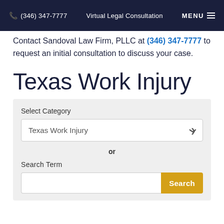(346) 347-7777  Virtual Legal Consultation  MENU
Contact Sandoval Law Firm, PLLC at (346) 347-7777 to request an initial consultation to discuss your case.
Texas Work Injury
Select Category
Texas Work Injury
or
Search Term
Search